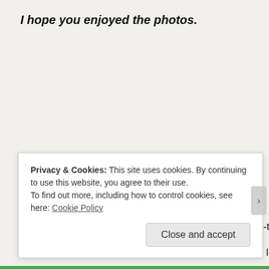I hope you enjoyed the photos.
I hope you will enjoy the future blog postings.
Forecast for today is sunny and 71 degrees.
Enjoying nice weather is another joy in the life of a full-time RVer!
The red dot on the below map shows my approximate location in the
Privacy & Cookies: This site uses cookies. By continuing to use this website, you agree to their use.
To find out more, including how to control cookies, see here: Cookie Policy
Close and accept